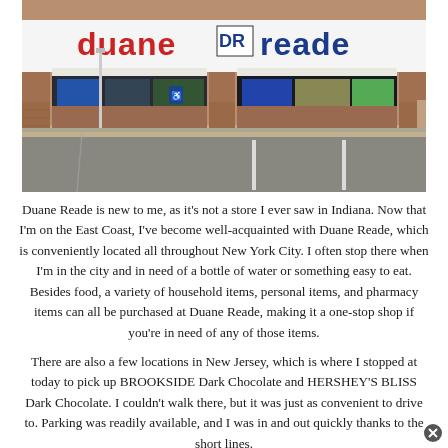[Figure (photo): Exterior photo of a Duane Reade pharmacy store front in a brick strip mall, showing the red and blue 'duane DR reade' sign above two large glass entrance windows with promotional posters, and a parking lot in the foreground.]
Duane Reade is new to me, as it's not a store I ever saw in Indiana. Now that I'm on the East Coast, I've become well-acquainted with Duane Reade, which is conveniently located all throughout New York City. I often stop there when I'm in the city and in need of a bottle of water or something easy to eat. Besides food, a variety of household items, personal items, and pharmacy items can all be purchased at Duane Reade, making it a one-stop shop if you're in need of any of those items.
There are also a few locations in New Jersey, which is where I stopped at today to pick up BROOKSIDE Dark Chocolate and HERSHEY'S BLISS Dark Chocolate. I couldn't walk there, but it was just as convenient to drive to. Parking was readily available, and I was in and out quickly thanks to the short lines.